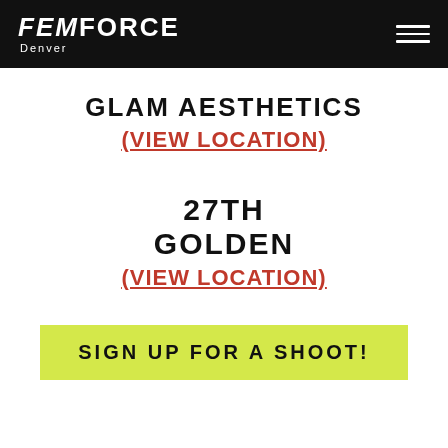FEMFORCE Denver
GLAM AESTHETICS
(VIEW LOCATION)
27TH
GOLDEN
(VIEW LOCATION)
SIGN UP FOR A SHOOT!